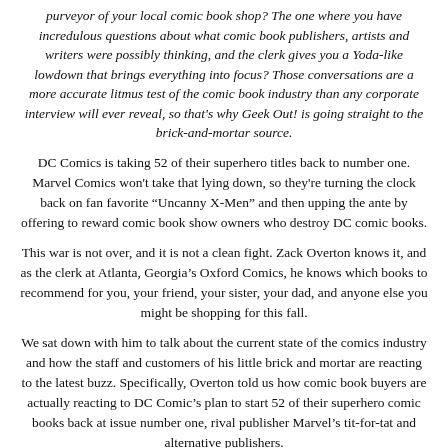purveyor of your local comic book shop? The one where you have incredulous questions about what comic book publishers, artists and writers were possibly thinking, and the clerk gives you a Yoda-like lowdown that brings everything into focus? Those conversations are a more accurate litmus test of the comic book industry than any corporate interview will ever reveal, so that's why Geek Out! is going straight to the brick-and-mortar source.
DC Comics is taking 52 of their superhero titles back to number one. Marvel Comics won't take that lying down, so they're turning the clock back on fan favorite “Uncanny X-Men” and then upping the ante by offering to reward comic book show owners who destroy DC comic books.
This war is not over, and it is not a clean fight. Zack Overton knows it, and as the clerk at Atlanta, Georgia’s Oxford Comics, he knows which books to recommend for you, your friend, your sister, your dad, and anyone else you might be shopping for this fall.
We sat down with him to talk about the current state of the comics industry and how the staff and customers of his little brick and mortar are reacting to the latest buzz. Specifically, Overton told us how comic book buyers are actually reacting to DC Comic’s plan to start 52 of their superhero comic books back at issue number one, rival publisher Marvel’s tit-for-tat and alternative publishers.